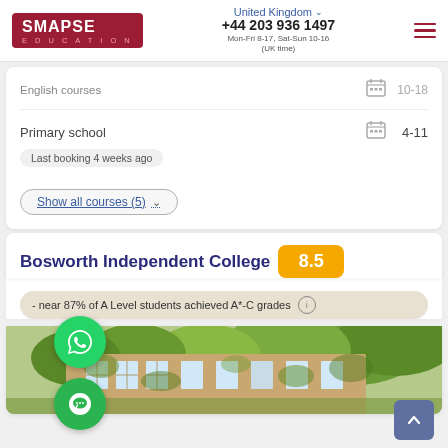United Kingdom | +44 203 936 1497 | Mon-Fri 8-17, Sat-Sun 10-16 (UK time)
English courses   10-18
Primary school   4-11
Last booking 4 weeks ago
Show all courses (5)
Bosworth Independent College  8.5
- near 87% of A Level students achieved A*-C grades
[Figure (photo): Exterior photo of Bosworth Independent College building with ivy-covered brick walls and large windows surrounded by trees]